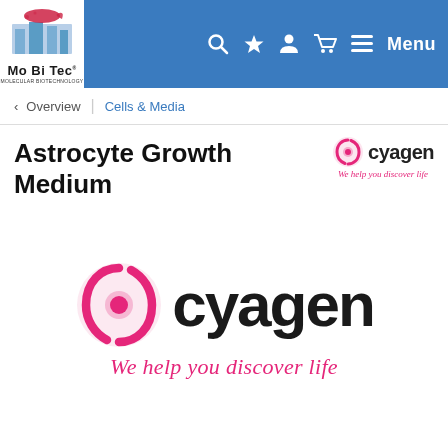[Figure (logo): Mo Bi Tec Molecular Biotechnology logo in website navigation bar]
Mo Bi Tec | Cells & Media navigation bar with search, favorites, account, cart, and menu icons
< Overview | Cells & Media
Astrocyte Growth Medium
[Figure (logo): Cyagen logo small - spiral icon with 'cyagen' text and tagline 'We help you discover life']
[Figure (logo): Cyagen logo large - pink spiral icon with 'cyagen' text and italic tagline 'We help you discover life']